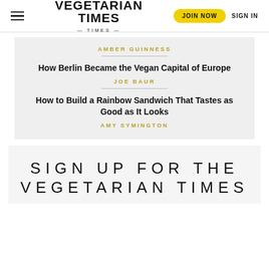VEGETARIAN TIMES — TIMES — JOIN NOW SIGN IN
AMBER GUINNESS
How Berlin Became the Vegan Capital of Europe
JOE BAUR
How to Build a Rainbow Sandwich That Tastes as Good as It Looks
AMY SYMINGTON
SIGN UP FOR THE VEGETARIAN TIMES